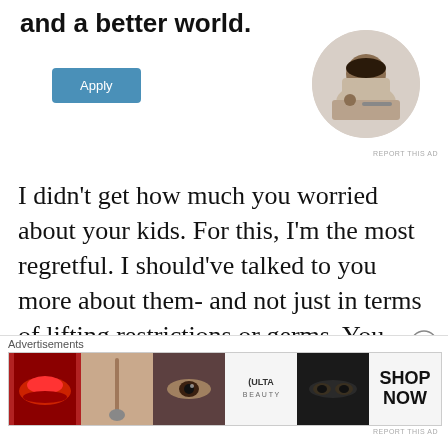and a better world.
[Figure (photo): Apply button (blue/teal rounded rectangle)]
[Figure (photo): Circular photo of a man thinking, resting chin on hand]
REPORT THIS AD
I didn't get how much you worried about your kids. For this, I'm the most regretful. I should've talked to you more about them- and not just in terms of lifting restrictions or germs. You worried about how this was going to affect them. You worried about not being able to keep up
Advertisements
[Figure (photo): Ulta Beauty advertisement banner showing makeup images including lips, brush, eye, Ulta logo, eyes, and SHOP NOW text]